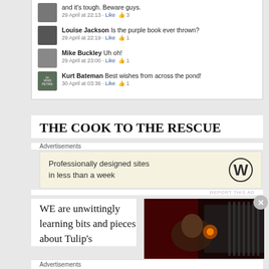[Figure (screenshot): Facebook comment section showing comments from Louise Jackson, Mike Buckley, and Kurt Bateman with likes and timestamps]
THE COOK TO THE RESCUE
Advertisements
[Figure (screenshot): WordPress advertisement: Professionally designed sites in less than a week]
REPORT THIS AD
WE are unwittingly learning bits and pieces about Tulip's
[Figure (photo): Dark screenshot from what appears to be a TV show or film]
Advertisements
[Figure (screenshot): P2 advertisement: Getting your team on the same page is easy. And free.]
REPORT THIS AD